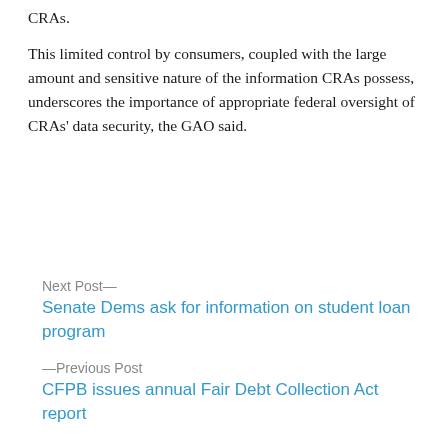CRAs.
This limited control by consumers, coupled with the large amount and sensitive nature of the information CRAs possess, underscores the importance of appropriate federal oversight of CRAs' data security, the GAO said.
Next Post—
Senate Dems ask for information on student loan program
—Previous Post
CFPB issues annual Fair Debt Collection Act report